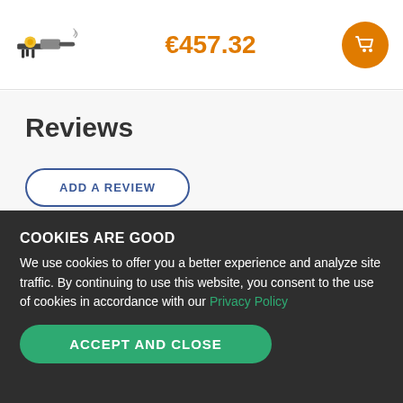€457.32
Reviews
ADD A REVIEW
COOKIES ARE GOOD
We use cookies to offer you a better experience and analyze site traffic. By continuing to use this website, you consent to the use of cookies in accordance with our Privacy Policy
ACCEPT AND CLOSE